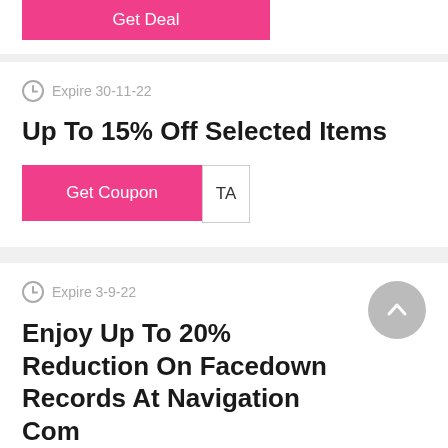[Figure (other): Pink 'Get Deal' button, partially visible at top of page]
Expire 30-11-22
Up To 15% Off Selected Items
[Figure (other): Pink 'Get Coupon' button with partially visible code area showing 'TA']
Expire 3-9-22
Enjoy Up To 20% Reduction On Facedown Records At Navigation Com